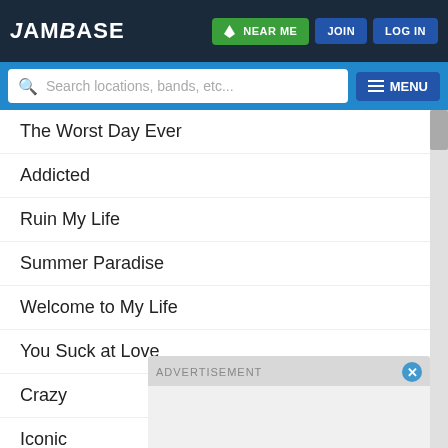JamBase | NEAR ME | JOIN | LOG IN
Search locations, bands, etc... MENU
The Worst Day Ever
Addicted
Ruin My Life
Summer Paradise
Welcome to My Life
You Suck at Love
Crazy
Iconic
All Star / Sk8er Boi / Mr. Brightside
What's New Scooby Doo
Where I Belong
I'm Ju...
Untit...
ADVERTISEMENT